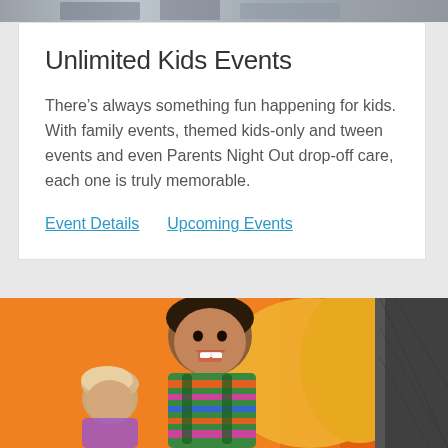[Figure (photo): Top partial photo showing people, partially cropped at the top of the page]
Unlimited Kids Events
There's always something fun happening for kids. With family events, themed kids-only and tween events and even Parents Night Out drop-off care, each one is truly memorable.
Event Details   Upcoming Events
[Figure (photo): Photo of a smiling child on an orange and yellow slide/play structure, with another child visible behind them]